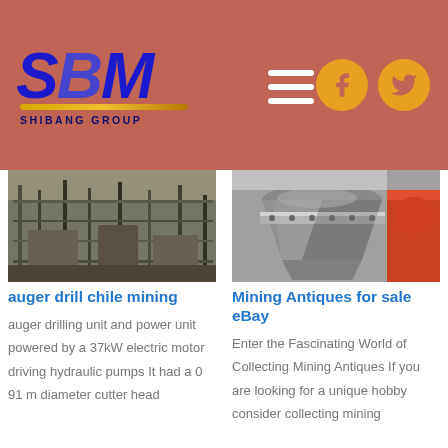[Figure (logo): SBM Shibang Group logo in blue with yellow underline on rose-red header background]
[Figure (photo): Industrial mining facility with scaffolding and steel structures]
[Figure (photo): Close-up of a cone crusher or similar mining equipment in grey metal with orange/red parts]
auger drill chile mining
auger drilling unit and power unit powered by a 37kW electric motor driving hydraulic pumps It had a 0 91 m diameter cutter head
Mining Antiques for sale eBay
Enter the Fascinating World of Collecting Mining Antiques If you are looking for a unique hobby consider collecting mining